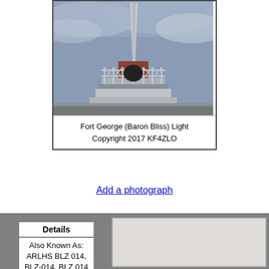[Figure (photo): Photograph of Fort George (Baron Bliss) Light - a lighthouse/monument with a spire, railing platform, and cloudy sky background]
Fort George (Baron Bliss) Light
Copyright 2017 KF4ZLO
Add a photograph
| Details |
| --- |
| Also Known As:
ARLHS BLZ 014, BLZ-014, BLZ 014 |